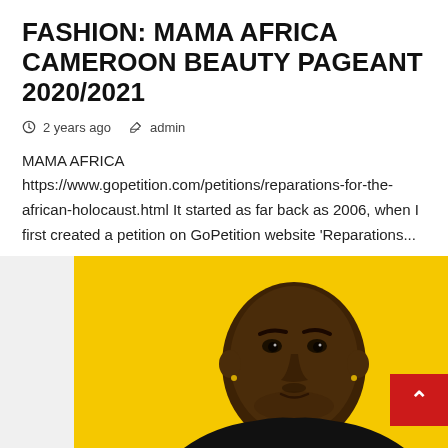FASHION: MAMA AFRICA CAMEROON BEAUTY PAGEANT 2020/2021
2 years ago  admin
MAMA AFRICA https://www.gopetition.com/petitions/reparations-for-the-african-holocaust.html It started as far back as 2006, when I first created a petition on GoPetition website 'Reparations...
[Figure (photo): Young man photographed from shoulders up against a bright yellow background, looking directly at camera with a neutral expression, wearing dark clothing, with small earrings.]